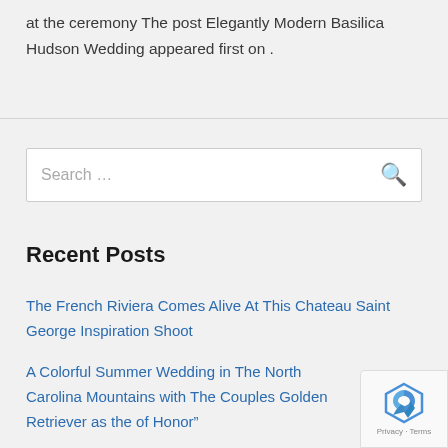at the ceremony The post Elegantly Modern Basilica Hudson Wedding appeared first on .
Search …
Recent Posts
The French Riviera Comes Alive At This Chateau Saint George Inspiration Shoot
A Colorful Summer Wedding in The North Carolina Mountains with The Couples Golden Retriever as the of Honor"